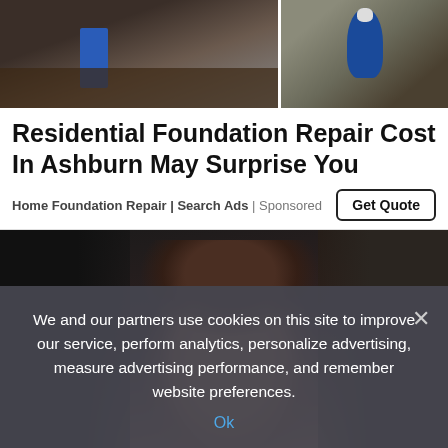[Figure (photo): Split photo showing foundation repair work: left side shows a person in jeans working near rocky/muddy ground, right side shows a blue hydraulic jack or similar tool against a wooden surface]
Residential Foundation Repair Cost In Ashburn May Surprise You
Home Foundation Repair | Search Ads | Sponsored
[Figure (photo): Close-up photo of a smiling woman with short dark brown hair with bangs, wearing dark clothing, photographed against a dark background]
We and our partners use cookies on this site to improve our service, perform analytics, personalize advertising, measure advertising performance, and remember website preferences.
Ok